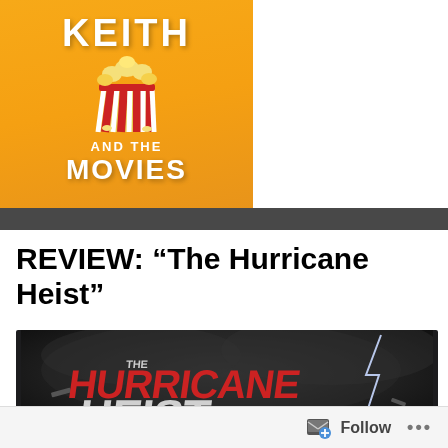[Figure (logo): Keith and the Movies blog logo — orange/yellow background with popcorn bucket illustration, text 'KEITH AND THE MOVIES']
REVIEW: “The Hurricane Heist”
[Figure (photo): The Hurricane Heist movie banner — dark stormy background with large red and white stylized text reading 'THE HURRICANE HEIST' with lightning and debris]
Follow ...